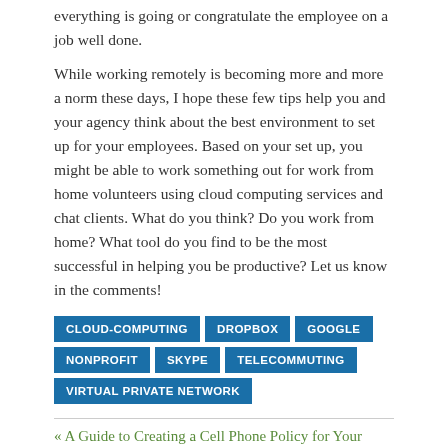everything is going or congratulate the employee on a job well done.
While working remotely is becoming more and more a norm these days, I hope these few tips help you and your agency think about the best environment to set up for your employees. Based on your set up, you might be able to work something out for work from home volunteers using cloud computing services and chat clients. What do you think? Do you work from home? What tool do you find to be the most successful in helping you be productive? Let us know in the comments!
CLOUD-COMPUTING
DROPBOX
GOOGLE
NONPROFIT
SKYPE
TELECOMMUTING
VIRTUAL PRIVATE NETWORK
« A Guide to Creating a Cell Phone Policy for Your Nonprofit